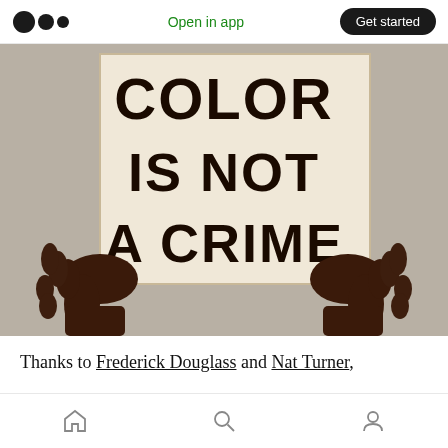Open in app  Get started
[Figure (illustration): Illustration of two dark-skinned hands holding a protest sign that reads 'COLOR IS NOT A CRIME' in bold black handwritten letters on a light beige background.]
Thanks to Frederick Douglass and Nat Turner,
Home  Search  Profile icons